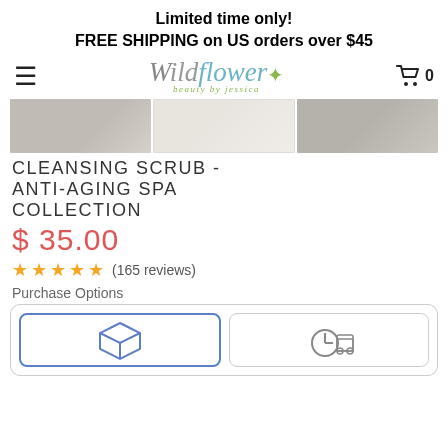Limited time only!
FREE SHIPPING on US orders over $45
[Figure (logo): Wildflower beauty by jessica logo with decorative script font in gray and teal with green accent and sprout icon]
[Figure (photo): Three product thumbnail photos of the cleansing scrub in a horizontal strip]
CLEANSING SCRUB - ANTI-AGING SPA COLLECTION
$ 35.00
★★★★★ (165 reviews)
Purchase Options
[Figure (infographic): Purchase options section showing two option cards: one with a blue outlined box/package icon (selected with blue border) and one with a clock/delivery truck icon]